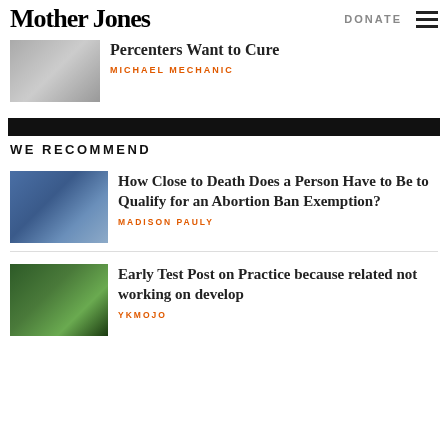Mother Jones | DONATE
[Figure (photo): Partial article thumbnail image, textured metallic fabric close-up]
Percenters Want to Cure
MICHAEL MECHANIC
WE RECOMMEND
[Figure (photo): Medical workers in blue scrubs pushing a patient on a hospital gurney]
How Close to Death Does a Person Have to Be to Qualify for an Abortion Ban Exemption?
MADISON PAULY
[Figure (photo): Person with green hair in a forest setting]
Early Test Post on Practice because related not working on develop
YKMOJO